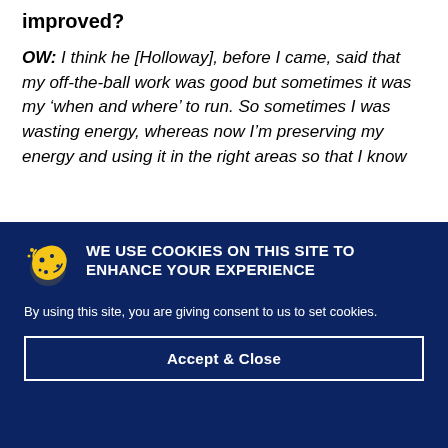improved?
OW: I think he [Holloway], before I came, said that my off-the-ball work was good but sometimes it was my ‘when and where’ to run. So sometimes I was wasting energy, whereas now I’m preserving my energy and using it in the right areas so that I know
WE USE COOKIES ON THIS SITE TO ENHANCE YOUR EXPERIENCE
By using this site, you are giving consent to us to set cookies.
Accept & Close